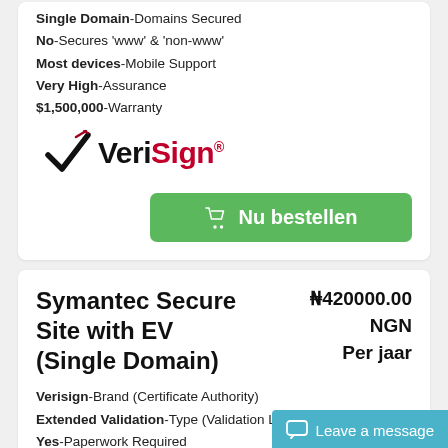Single Domain-Domains Secured
No-Secures 'www' & 'non-www'
Most devices-Mobile Support
Very High-Assurance
$1,500,000-Warranty
[Figure (logo): VeriSign logo with checkmark]
Nu bestellen
Symantec Secure Site with EV (Single Domain)
₦420000.00 NGN Per jaar
Verisign-Brand (Certificate Authority)
Extended Validation-Type (Validation Level)
Yes-Paperwork Required
Single Domain-Domains Secured
No-Secures 'www' & 'non-www'
Most devices-Mobile Support
Very High-Assurance
$1,500,000-Warranty
Leave a message